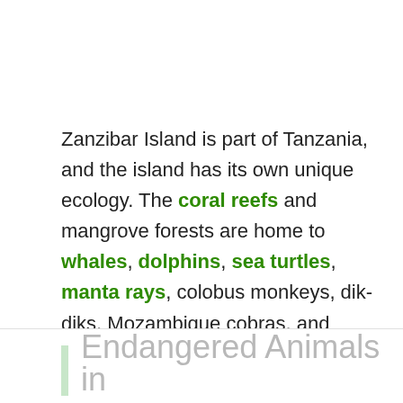Zanzibar Island is part of Tanzania, and the island has its own unique ecology. The coral reefs and mangrove forests are home to whales, dolphins, sea turtles, manta rays, colobus monkeys, dik-diks, Mozambique cobras, and Pemba flying foxes. Zanzibar has one national park and many protected marine areas.
Endangered Animals in